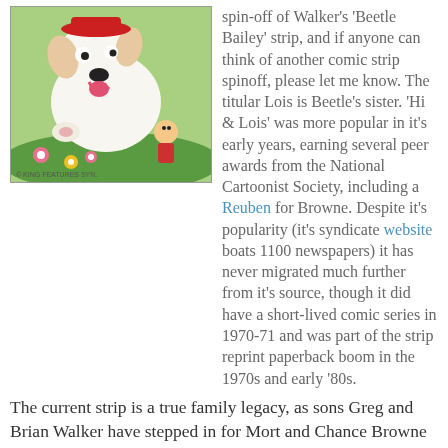[Figure (illustration): Colorful cartoon image of a large white dog with a red cap, its tongue hanging out, playing with a small child on green grass with pink and yellow flowers]
spin-off of Walker's 'Beetle Bailey' strip, and if anyone can think of another comic strip spinoff, please let me know. The titular Lois is Beetle's sister. 'Hi & Lois' was more popular in it's early years, earning several peer awards from the National Cartoonist Society, including a Reuben for Browne. Despite it's popularity (it's syndicate website boats 1100 newspapers) it has never migrated much further from it's source, though it did have a short-lived comic series in 1970-71 and was part of the strip reprint paperback boom in the 1970s and early '80s.
The current strip is a true family legacy, as sons Greg and Brian Walker have stepped in for Mort and Chance Browne replaced his late father. I was tickled by this recent daily -
[Figure (illustration): A comic strip panel showing two characters in conversation, with speech bubbles containing dialogue]